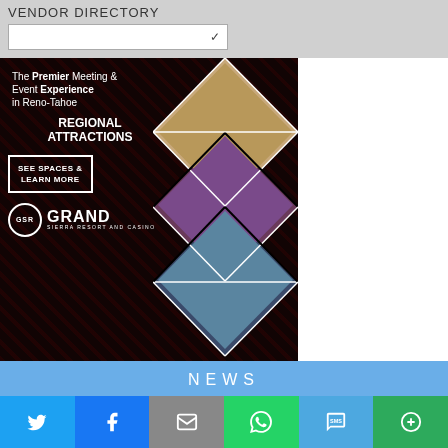VENDOR DIRECTORY
[Figure (illustration): Advertisement for Grand Sierra Resort and Casino: dark diamond-patterned background with photos of meeting spaces, ballrooms, suite. Text: The Premier Meeting & Event Experience in Reno-Tahoe, REGIONAL ATTRACTIONS, SEE SPACES & LEARN MORE, GSR GRAND SIERRA RESORT AND CASINO]
NEWS
-VENUE REPORT -
[Figure (infographic): Social share bar with Twitter, Facebook, Email, WhatsApp, SMS, and More buttons]